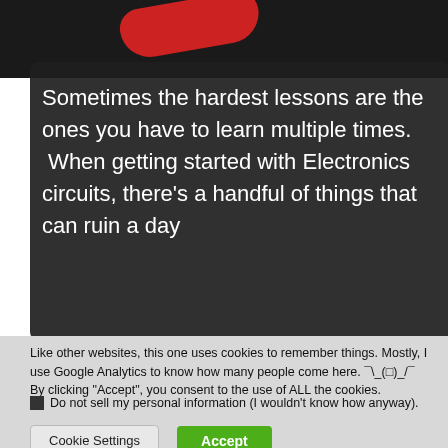[Figure (photo): Dark background with a red rounded object partially visible at the top of the page, serving as a website article header image.]
Sometimes the hardest lessons are the ones you have to learn multiple times. When getting started with Electronics circuits, there’s a handful of things that can ruin a day
Like other websites, this one uses cookies to remember things. Mostly, I use Google Analytics to know how many people come here. ¯\_(o)_/¯
By clicking “Accept”, you consent to the use of ALL the cookies.
Do not sell my personal information (I wouldn’t know how anyway).
Cookie Settings   Accept